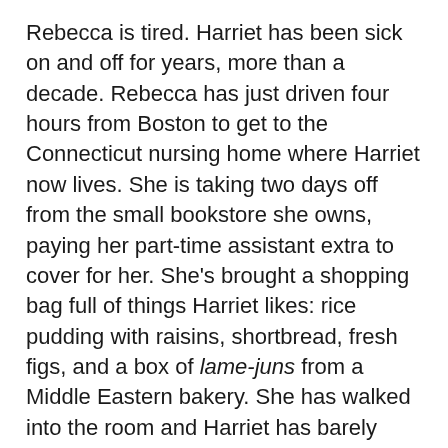Rebecca is tired. Harriet has been sick on and off for years, more than a decade. Rebecca has just driven four hours from Boston to get to the Connecticut nursing home where Harriet now lives. She is taking two days off from the small bookstore she owns, paying her part-time assistant extra to cover for her. She's brought a shopping bag full of things Harriet likes: rice pudding with raisins, shortbread, fresh figs, and a box of lame-juns from a Middle Eastern bakery. She has walked into the room and Harriet has barely looked away from the TV to say hello.
What Harriet says is, “They just interviewed a man whose granddaughter died in his arms.”
Rebecca puts down the shopping bag and kisses the top of her mother’s head. Someone has given